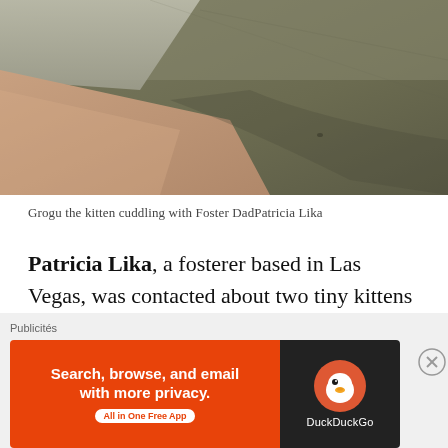[Figure (photo): A photo of a kitten cuddling with a person, showing close-up of skin and a gray/green background surface]
Grogu the kitten cuddling with Foster DadPatricia Lika
Patricia Lika, a fosterer based in Las Vegas, was contacted about two tiny kittens desperately needing help. « They were found by a Good Samaritan without a mom in sight and brought
[Figure (screenshot): DuckDuckGo advertisement banner reading 'Search, browse, and email with more privacy. All in One Free App' with DuckDuckGo logo on dark background, preceded by 'Publicités' label]